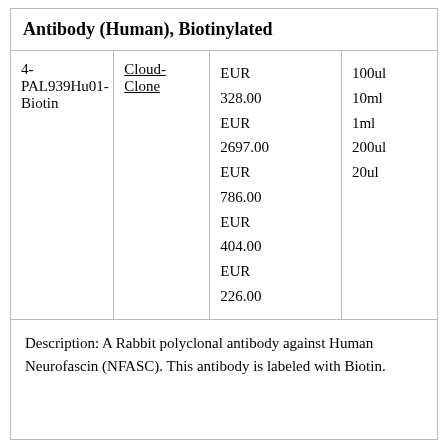Antibody (Human), Biotinylated
|  |  |  |  |
| --- | --- | --- | --- |
| 4-PAL939Hu01-Biotin | Cloud-Clone | EUR 328.00
EUR 2697.00
EUR 786.00
EUR 404.00
EUR 226.00 | 100ul
10ml
1ml
200ul
20ul |
Description: A Rabbit polyclonal antibody against Human Neurofascin (NFASC). This antibody is labeled with Biotin.